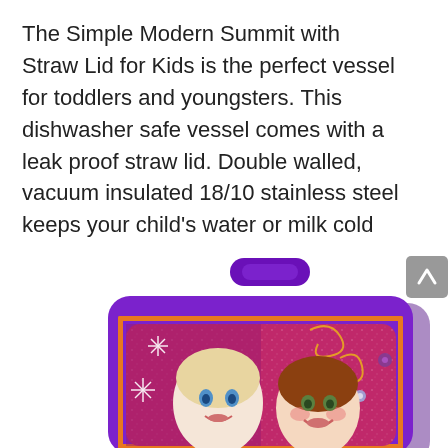The Simple Modern Summit with Straw Lid for Kids is the perfect vessel for toddlers and youngsters. This dishwasher safe vessel comes with a leak proof straw lid. Double walled, vacuum insulated 18/10 stainless steel keeps your child's water or milk cold for hours.
[Figure (photo): A purple Frozen (Disney) lunch bag/box featuring characters Elsa and Anna, with a purple handle on top and orange zipper trim. The bag has a pink/purple glittery front panel with snowflake decorations and floral swirls. A gray scroll-to-top arrow button is visible at the right edge.]